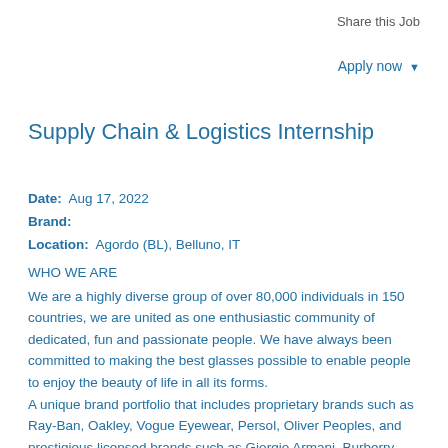Share this Job
Apply now ▾
Supply Chain & Logistics Internship
Date:  Aug 17, 2022
Brand:
Location:  Agordo (BL), Belluno, IT
WHO WE ARE
We are a highly diverse group of over 80,000 individuals in 150 countries, we are united as one enthusiastic community of dedicated, fun and passionate people. We have always been committed to making the best glasses possible to enable people to enjoy the beauty of life in all its forms.
A unique brand portfolio that includes proprietary brands such as Ray-Ban, Oakley, Vogue Eyewear, Persol, Oliver Peoples, and prestigious licensed brands such as Giorgio Armani, Burberry, Bulgari, Chanel, Valentino